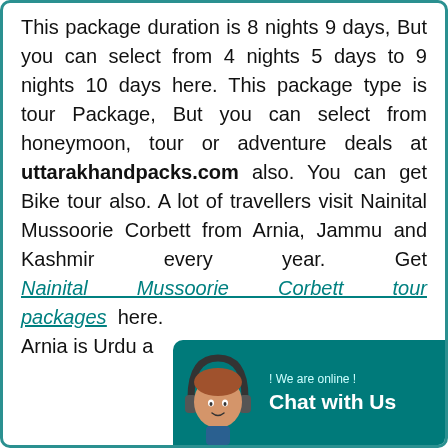This package duration is 8 nights 9 days, But you can select from 4 nights 5 days to 9 nights 10 days here. This package type is tour Package, But you can select from honeymoon, tour or adventure deals at uttarakhandpacks.com also. You can get Bike tour also. A lot of travellers visit Nainital Mussoorie Corbett from Arnia, Jammu and Kashmir every year. Get Nainital Mussoorie Corbett tour packages here. Arnia is Urdu a...
[Figure (other): Chat widget with a customer service avatar and 'Chat with Us' button on teal background. Text: '! We are online !' above 'Chat with Us'.]